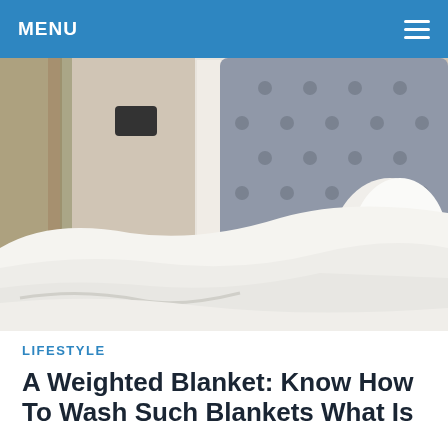MENU
[Figure (photo): A smiling woman lying in bed under white blankets with a grey tufted headboard, bedroom background with curtains and wall light.]
LIFESTYLE
A Weighted Blanket: Know How To Wash Such Blankets What Is